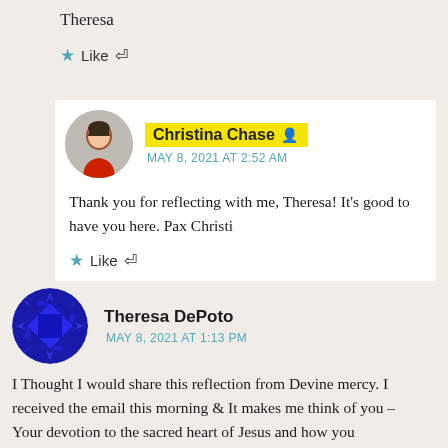Theresa
Like ↩
Christina Chase — MAY 8, 2021 AT 2:52 AM
Thank you for reflecting with me, Theresa! It's good to have you here. Pax Christi
Like ↩
Theresa DePoto — MAY 8, 2021 AT 1:13 PM
I Thought I would share this reflection from Devine mercy. I received the email this morning & It makes me think of you –
Your devotion to the sacred heart of Jesus and how you